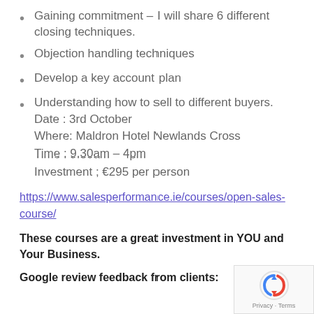Gaining commitment – I will share 6 different closing techniques.
Objection handling techniques
Develop a key account plan
Understanding how to sell to different buyers.
Date : 3rd October
Where: Maldron Hotel Newlands Cross
Time : 9.30am – 4pm
Investment ; €295 per person
https://www.salesperformance.ie/courses/open-sales-course/
These courses are a great investment in YOU and Your Business.
Google review feedback from clients: